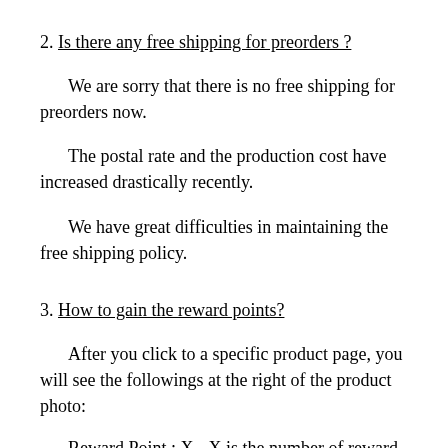2. Is there any free shipping for preorders ?
We are sorry that there is no free shipping for preorders now.
The postal rate and the production cost have increased drastically recently.
We have great difficulties in maintaining the free shipping policy.
3. How to gain the reward points?
After you click to a specific product page, you will see the followings at the right of the product photo:
Reward Point : X - X is the number of reward points you gain per unit
Price in Reward Point : Y - This is under the price and is the